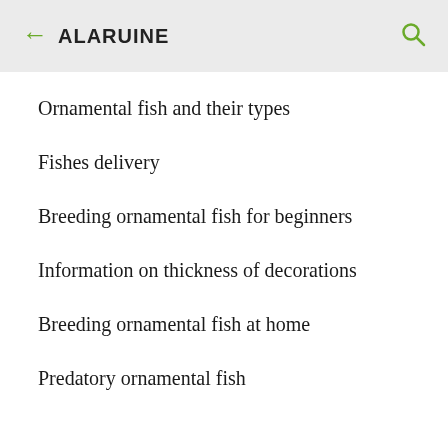← ALARUINE
Ornamental fish and their types
Fishes delivery
Breeding ornamental fish for beginners
Information on thickness of decorations
Breeding ornamental fish at home
Predatory ornamental fish